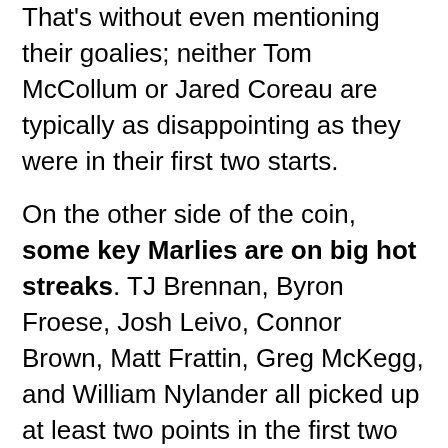That's without even mentioning their goalies; neither Tom McCollum or Jared Coreau are typically as disappointing as they were in their first two starts.
On the other side of the coin, some key Marlies are on big hot streaks. TJ Brennan, Byron Froese, Josh Leivo, Connor Brown, Matt Frattin, Greg McKegg, and William Nylander all picked up at least two points in the first two games of the playoffs. Most of these guys (along with Brandon Leipsic) have produced above their typical rates in the past ten games or so. The good news is that some are just regressing back up to where they should be, and that there's eight names here. This isn't Monty Burns' softball team; it would take